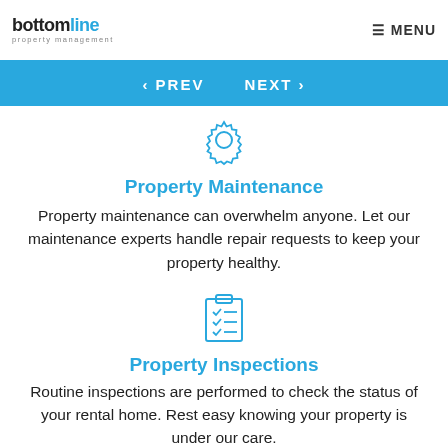incoming funds. Your earnings are directly deposited to your bank account.
bottomline property management  ≡ MENU
‹ PREV   NEXT ›
[Figure (illustration): Gear/settings icon in light blue outline style]
Property Maintenance
Property maintenance can overwhelm anyone. Let our maintenance experts handle repair requests to keep your property healthy.
[Figure (illustration): Checklist/clipboard icon in light blue outline style]
Property Inspections
Routine inspections are performed to check the status of your rental home. Rest easy knowing your property is under our care.